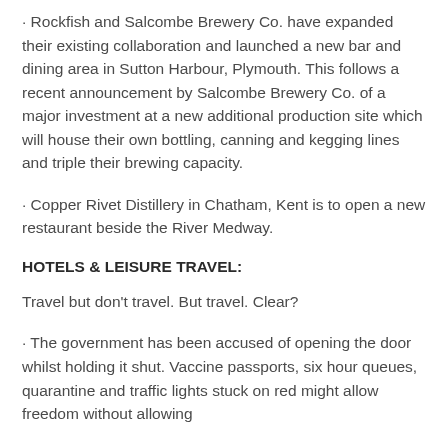• Rockfish and Salcombe Brewery Co. have expanded their existing collaboration and launched a new bar and dining area in Sutton Harbour, Plymouth. This follows a recent announcement by Salcombe Brewery Co. of a major investment at a new additional production site which will house their own bottling, canning and kegging lines and triple their brewing capacity.
• Copper Rivet Distillery in Chatham, Kent is to open a new restaurant beside the River Medway.
HOTELS & LEISURE TRAVEL:
Travel but don't travel. But travel. Clear?
• The government has been accused of opening the door whilst holding it shut. Vaccine passports, six hour queues, quarantine and traffic lights stuck on red might allow freedom without allowing